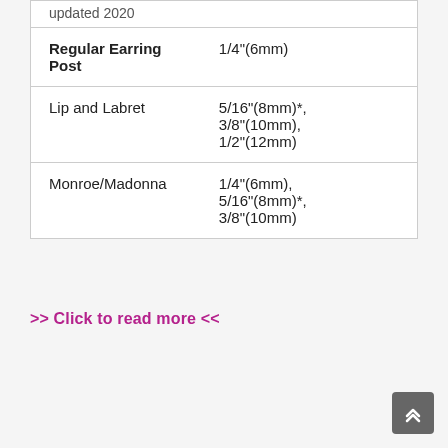| Piercing Type | Size |
| --- | --- |
| updated 2020 |  |
| Regular Earring Post | 1/4"(6mm) |
| Lip and Labret | 5/16"(8mm)*, 3/8"(10mm), 1/2"(12mm) |
| Monroe/Madonna | 1/4"(6mm), 5/16"(8mm)*, 3/8"(10mm) |
>> Click to read more <<